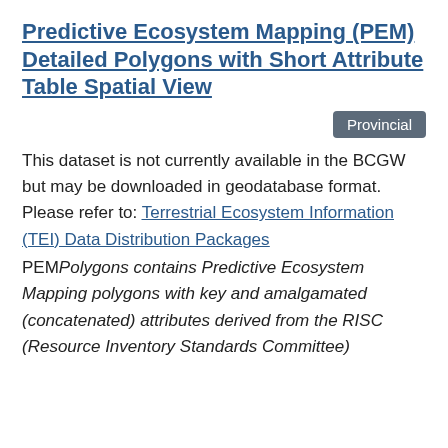Predictive Ecosystem Mapping (PEM) Detailed Polygons with Short Attribute Table Spatial View
Provincial
This dataset is not currently available in the BCGW but may be downloaded in geodatabase format. Please refer to: Terrestrial Ecosystem Information (TEI) Data Distribution Packages
PEMPolygons contains Predictive Ecosystem Mapping polygons with key and amalgamated (concatenated) attributes derived from the RISC (Resource Inventory Standards Committee)